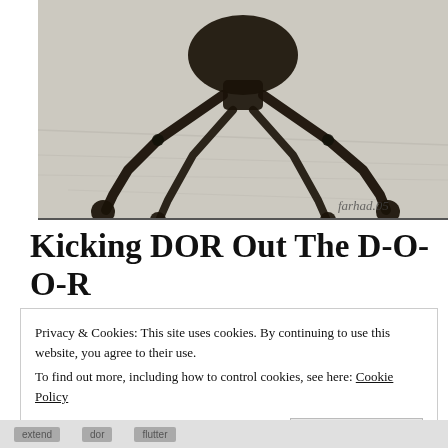[Figure (photo): Close-up black-and-white photograph of insect legs (possibly a grasshopper or cricket) on a light textured background. The image shows dark silhouetted legs with joints and claws. A handwritten signature 'farhad.05' appears in the lower right corner.]
Kicking DOR Out The D-O-O-R
Privacy & Cookies: This site uses cookies. By continuing to use this website, you agree to their use.
To find out more, including how to control cookies, see here: Cookie Policy
Close and accept